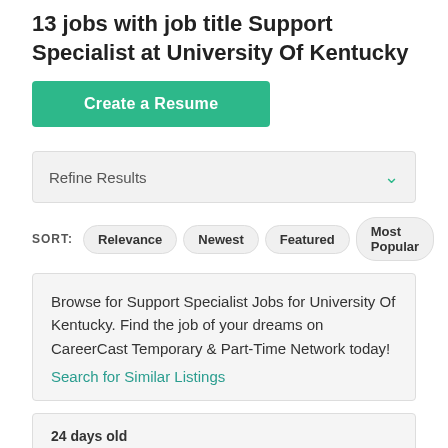13 jobs with job title Support Specialist at University Of Kentucky
Create a Resume
Refine Results
SORT: Relevance  Newest  Featured  Most Popular
Browse for Support Specialist Jobs for University Of Kentucky. Find the job of your dreams on CareerCast Temporary & Part-Time Network today!
Search for Similar Listings
24 days old
STEPS Administrative Support Associate